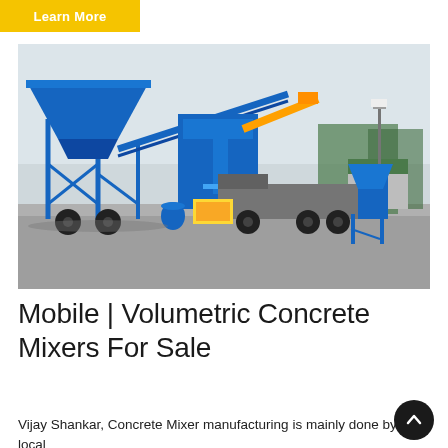Learn More
[Figure (photo): A mobile/volumetric concrete mixer plant on a paved yard. Large blue steel frame structure with hopper on the left, conveyor belt, yellow generator unit in the middle, dump truck behind, and a smaller blue hopper on a stand to the right. Overcast sky in background with trees and a building visible.]
Mobile | Volumetric Concrete Mixers For Sale
Vijay Shankar, Concrete Mixer manufacturing is mainly done by local